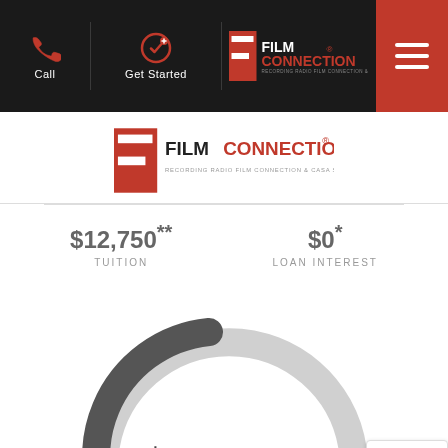Call | Get Started | Film Connection | Recording Radio Film Connection & Casa Schools
[Figure (logo): Film Connection logo — Recording Radio Film Connection & Casa Schools]
$12,750** TUITION
$0* LOAN INTEREST
[Figure (other): Circular gauge/donut arc showing $105,000, dark grey filled portion on left, light grey on right]
Privacy · Terms